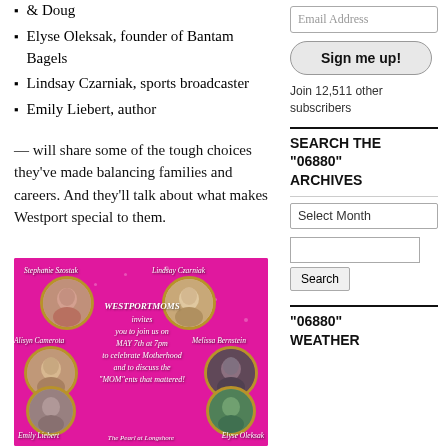& Doug
Elyse Oleksak, founder of Bantam Bagels
Lindsay Czarniak, sports broadcaster
Emily Liebert, author
— will share some of the tough choices they've made balancing families and careers. And they'll talk about what makes Westport special to them.
[Figure (photo): Event flyer for WestportMoms on hot pink background featuring circular portrait photos of Stephanie Szostak, Lindsay Czarniak, Alisyn Camerota, Melissa Bernstein, Emily Liebert, and Elyse Oleksak. Center text reads: WESTPORTMOMS invites you to join us on MAY 7th at 7pm to celebrate Motherhood and to discuss the 'MOM'ents that mattered! The Pearl at Longshore.]
Email Address
Sign me up!
Join 12,511 other subscribers
SEARCH THE "06880" ARCHIVES
Select Month
Search
"06880" WEATHER